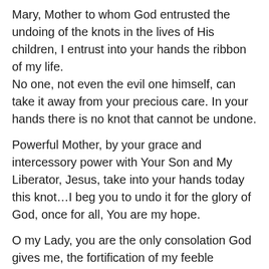Mary, Mother to whom God entrusted the undoing of the knots in the lives of His children, I entrust into your hands the ribbon of my life. No one, not even the evil one himself, can take it away from your precious care. In your hands there is no knot that cannot be undone.
Powerful Mother, by your grace and intercessory power with Your Son and My Liberator, Jesus, take into your hands today this knot…I beg you to undo it for the glory of God, once for all, You are my hope.
O my Lady, you are the only consolation God gives me, the fortification of my feeble strength, the enrichment of my destitution and with Christ the freedom from my chains. Hear my plea.